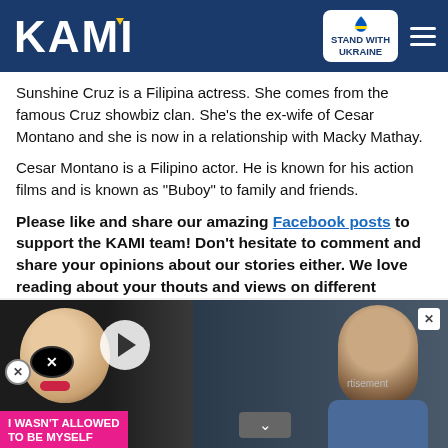KAMI — Stand with Ukraine
Sunshine Cruz is a Filipina actress. She comes from the famous Cruz showbiz clan. She's the ex-wife of Cesar Montano and she is now in a relationship with Macky Mathay.
Cesar Montano is a Filipino actor. He is known for his action films and is known as "Buboy" to family and friends.
Please like and share our amazing Facebook posts to support the KAMI team! Don't hesitate to comment and share your opinions about our stories either. We love reading about your thoughts and views on different
[Figure (screenshot): Advertisement overlay showing a woman with an eye patch on the left, a couple kissing in a circle thumbnail, and a man on the right. Pink label reads 'I WASN'T ALLOWED TO BE MYSELF'. Advertisement text visible.]
[Figure (screenshot): Ukraine donation banner at bottom: 'Help Protect Ukrainian Families' with blue DONATE NOW button and Ukraine heart flag icon.]